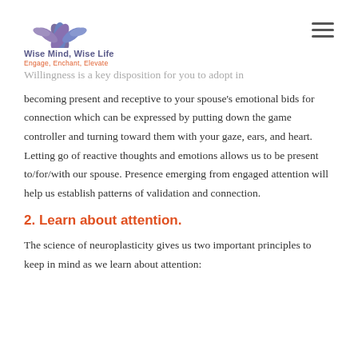Wise Mind, Wise Life — Engage, Enchant, Elevate
Willingness is a key disposition for you to adopt in becoming present and receptive to your spouse's emotional bids for connection which can be expressed by putting down the game controller and turning toward them with your gaze, ears, and heart. Letting go of reactive thoughts and emotions allows us to be present to/for/with our spouse. Presence emerging from engaged attention will help us establish patterns of validation and connection.
2. Learn about attention.
The science of neuroplasticity gives us two important principles to keep in mind as we learn about attention: